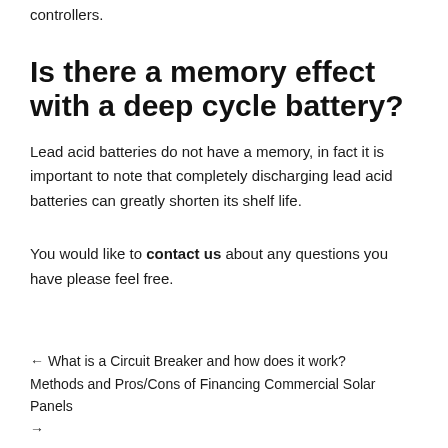controllers.
Is there a memory effect with a deep cycle battery?
Lead acid batteries do not have a memory, in fact it is important to note that completely discharging lead acid batteries can greatly shorten its shelf life.
You would like to contact us about any questions you have please feel free.
← What is a Circuit Breaker and how does it work?
Methods and Pros/Cons of Financing Commercial Solar Panels →